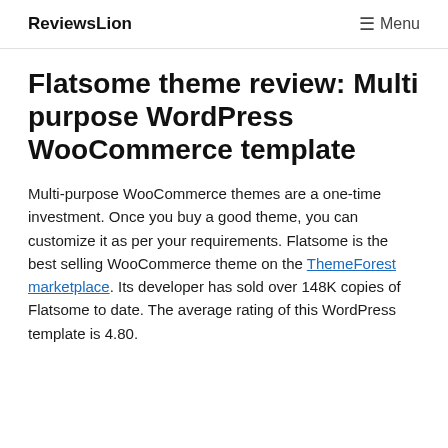ReviewsLion   ≡ Menu
Flatsome theme review: Multi purpose WordPress WooCommerce template
Multi-purpose WooCommerce themes are a one-time investment. Once you buy a good theme, you can customize it as per your requirements. Flatsome is the best selling WooCommerce theme on the ThemeForest marketplace. Its developer has sold over 148K copies of Flatsome to date. The average rating of this WordPress template is 4.80.